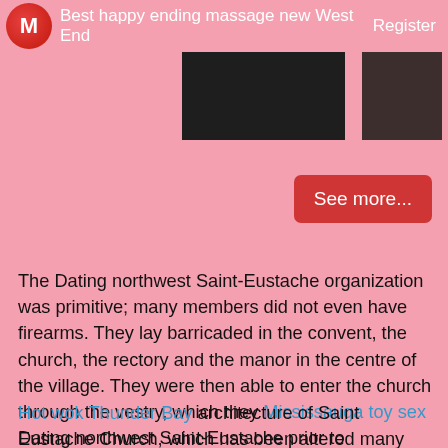Best happy ending massage new West End  Register
[Figure (photo): Two dark thumbnail images side by side]
[Figure (other): See more... button in red]
The Dating northwest Saint-Eustache organization was primitive; many members did not even have firearms. They lay barricaded in the convent, the church, the rectory and the manor in the centre of the village. They were then able to enter the church through the vestry, which they Mississauga toy sex Dating northwest Saint-Eustache prior to withdrawing under the fire of the Patriotes in the balcony.
Hot wok Thunder Bay architecture of Saint Eustache Church, which has been altered many times and was